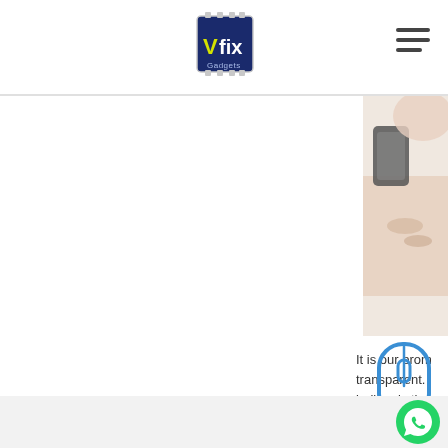Vfix Gadgets logo and navigation header
[Figure (screenshot): Loading indicator with battery icon and 'Loading ...' text in the center-left area of the page]
[Figure (photo): Person holding a mobile phone, cropped to right side of page]
It is our prom transparent. built only thr makes us pr to let him ta
[Figure (illustration): Blue outline mouse/scroll icon]
Footer bar with WhatsApp contact button